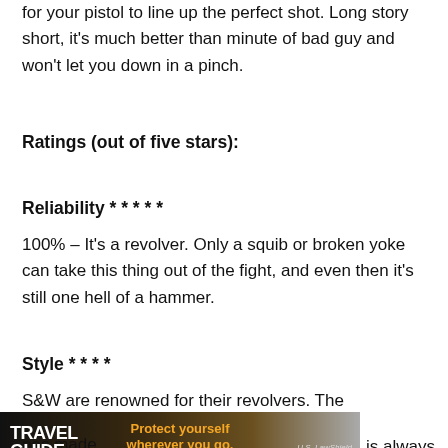for your pistol to line up the perfect shot. Long story short, it's much better than minute of bad guy and won't let you down in a pinch.
Ratings (out of five stars):
Reliability * * * * *
100% – It's a revolver. Only a squib or broken yoke can take this thing out of the fight, and even then it's still one hell of a hammer.
Style * * * *
S&W are renowned for their revolvers. The
[Figure (photo): Travel Guide for Gun Owners advertisement banner with text 'Protect yourself wherever you go.' and US LawShield logo]
is always
nes made